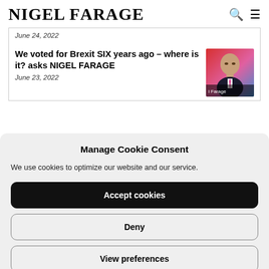Nigel Farage
June 24, 2022
We voted for Brexit SIX years ago – where is it? asks NIGEL FARAGE
June 23, 2022
[Figure (photo): Photo of Nigel Farage speaking, wearing a dark suit with pink tie, with red and blue background. 'l Farage' text overlay visible.]
Manage Cookie Consent
We use cookies to optimize our website and our service.
Accept cookies
Deny
View preferences